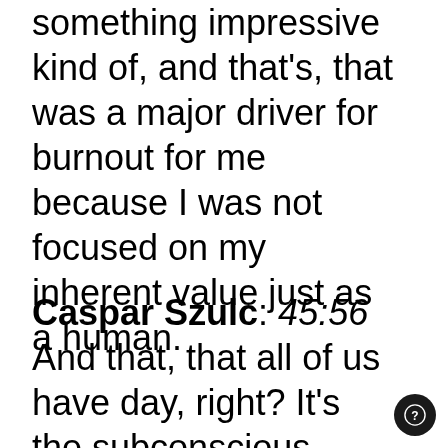something impressive kind of, and that's, that was a major driver for burnout for me because I was not focused on my inherent value just as a human.
Caspar Szulc: 45:56 And that, that all of us have day, right? It's the subconscious beliefs. It's all like, you know, there isn't a